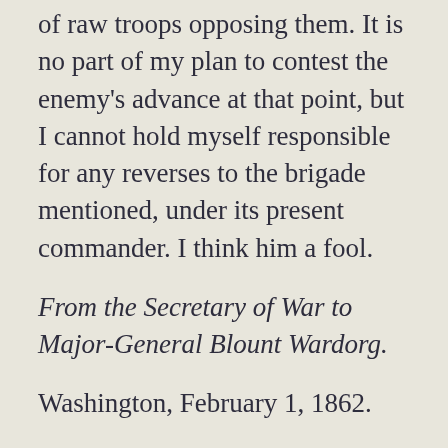of raw troops opposing them. It is no part of my plan to contest the enemy's advance at that point, but I cannot hold myself responsible for any reverses to the brigade mentioned, under its present commander. I think him a fool.
From the Secretary of War to Major-General Blount Wardorg.
Washington, February 1, 1862.
The President has great faith in General Doke. If your estimate of him is correct, however, he would seem to be singularly